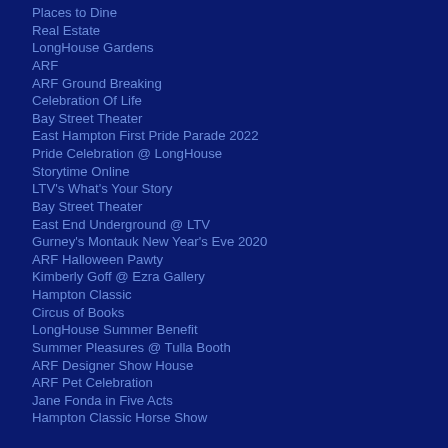Places to Dine
Real Estate
LongHouse Gardens
ARF
ARF Ground Breaking
Celebration Of Life
Bay Street Theater
East Hampton First Pride Parade 2022
Pride Celebration @ LongHouse
Storytime Online
LTV's What's Your Story
Bay Street Theater
East End Underground @ LTV
Gurney's Montauk New Year's Eve 2020
ARF Halloween Pawty
Kimberly Goff @ Ezra Gallery
Hampton Classic
Circus of Books
LongHouse Summer Benefit
Summer Pleasures @ Tulla Booth
ARF Designer Show House
ARF Pet Celebration
Jane Fonda in Five Acts
Hampton Classic Horse Show